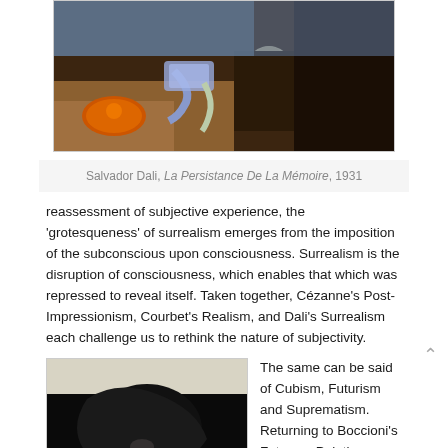[Figure (photo): Salvador Dali painting 'La Persistance De La Mémoire' showing melting clocks in a surrealist landscape]
Salvador Dali, La Persistance De La Mémoire, 1931
reassessment of subjective experience, the 'grotesqueness' of surrealism emerges from the imposition of the subconscious upon consciousness. Surrealism is the disruption of consciousness, which enables that which was repressed to reveal itself. Taken together, Cézanne's Post-Impressionism, Courbet's Realism, and Dali's Surrealism each challenge us to rethink the nature of subjectivity.
[Figure (photo): Dark abstract painting, appears to be a Futurist work with dark tones and organic forms]
The same can be said of Cubism, Futurism and Suprematism. Returning to Boccioni's Futurist Painting: Technical